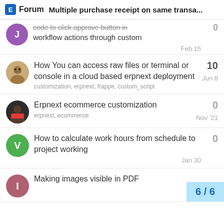E Forum  Multiple purchase receipt on same transa...
code to click approve button in workflow actions through custom script | Feb 15 | 0
How You can access raw files or terminal or console in a cloud based erpnext deployment | customization, erpnext, frappe, custom_script | Jun 8 | 10
Erpnext ecommerce customization | erpnext, ecommerce | Nov '21 | 0
How to calculate work hours from schedule to project working | Jan 30 | 0
Making images visible in PDF